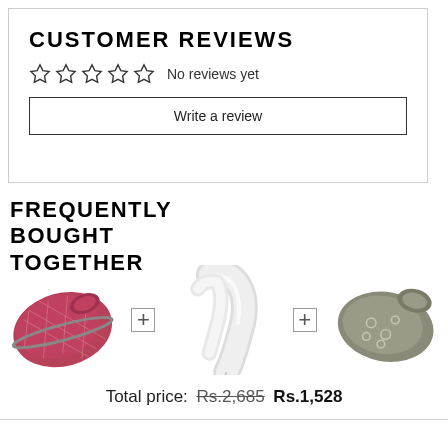CUSTOMER REVIEWS
☆☆☆☆☆  No reviews yet
Write a review
FREQUENTLY BOUGHT TOGETHER
[Figure (photo): Three scarves/wraps shown side by side: a red/pink patterned scarf on the left, a cream/white draped scarf in the center, and a grey embroidered scarf on the right, with plus signs between them.]
Total price: Rs.2,685  Rs.1,528